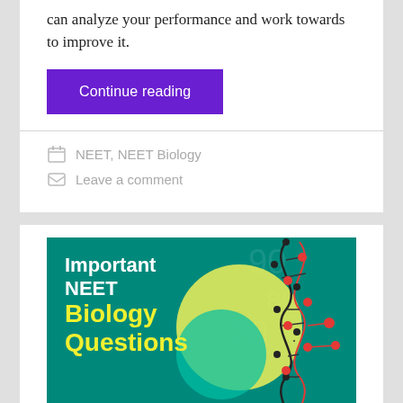can analyze your performance and work towards to improve it.
Continue reading
NEET, NEET Biology
Leave a comment
[Figure (illustration): Banner image for 'Important NEET Biology Questions' with teal background, yellow circle, teal circle, and DNA double helix graphic. White and yellow bold text reads: Important NEET Biology Questions.]